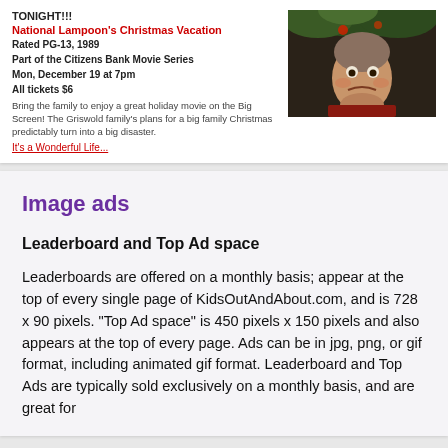TONIGHT!!!
National Lampoon's Christmas Vacation
Rated PG-13, 1989
Part of the Citizens Bank Movie Series
Mon, December 19 at 7pm
All tickets $6
Bring the family to enjoy a great holiday movie on the Big Screen! The Griswold family's plans for a big family Christmas predictably turn into a big disaster.
[Figure (photo): Movie still from National Lampoon's Christmas Vacation showing a man with a surprised/angry expression covered in greenery/Christmas decorations]
Image ads
Leaderboard and Top Ad space
Leaderboards are offered on a monthly basis; appear at the top of every single page of KidsOutAndAbout.com, and is 728 x 90 pixels. "Top Ad space" is 450 pixels x 150 pixels and also appears at the top of every page. Ads can be in jpg, png, or gif format, including animated gif format. Leaderboard and Top Ads are typically sold exclusively on a monthly basis, and are great for